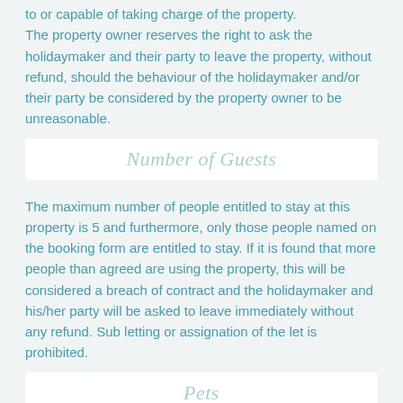to or capable of taking charge of the property. The property owner reserves the right to ask the holidaymaker and their party to leave the property, without refund, should the behaviour of the holidaymaker and/or their party be considered by the property owner to be unreasonable.
Number of Guests
The maximum number of people entitled to stay at this property is 5 and furthermore, only those people named on the booking form are entitled to stay. If it is found that more people than agreed are using the property, this will be considered a breach of contract and the holidaymaker and his/her party will be asked to leave immediately without any refund. Sub letting or assignation of the let is prohibited.
Pets
Pets are allowed in the property subject to the property owner's agreement. All pets must be house trained and the